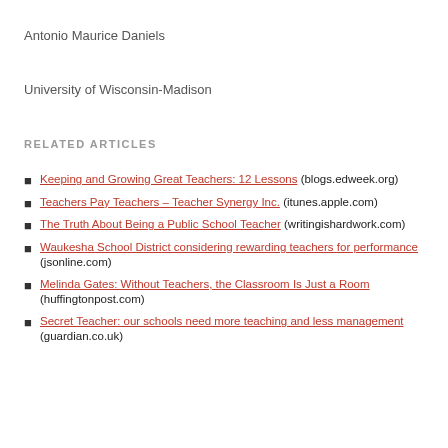Antonio Maurice Daniels
University of Wisconsin-Madison
RELATED ARTICLES
Keeping and Growing Great Teachers: 12 Lessons (blogs.edweek.org)
Teachers Pay Teachers – Teacher Synergy Inc. (itunes.apple.com)
The Truth About Being a Public School Teacher (writingishardwork.com)
Waukesha School District considering rewarding teachers for performance (jsonline.com)
Melinda Gates: Without Teachers, the Classroom Is Just a Room (huffingtonpost.com)
Secret Teacher: our schools need more teaching and less management (guardian.co.uk)